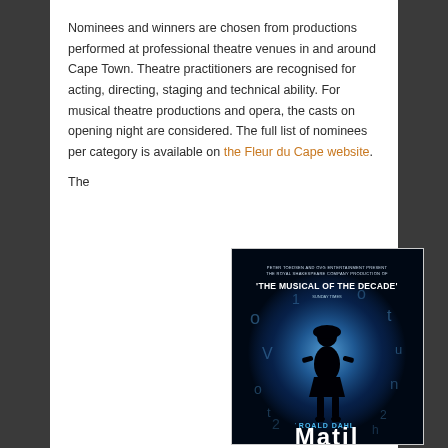Nominees and winners are chosen from productions performed at professional theatre venues in and around Cape Town. Theatre practitioners are recognised for acting, directing, staging and technical ability. For musical theatre productions and opera, the casts on opening night are considered. The full list of nominees per category is available on the Fleur du Cape website.
The
[Figure (photo): Matilda the Musical poster showing a silhouette of a girl with hands on hips, backlit with blue light, surrounded by floating letters. Text reads 'THE MUSICAL OF THE DECADE' and 'ROALD DAHL' and 'MATILDA' at the bottom. Peter Toedsen and OVG Entertainment present The Royal Shakespeare Company Production.]